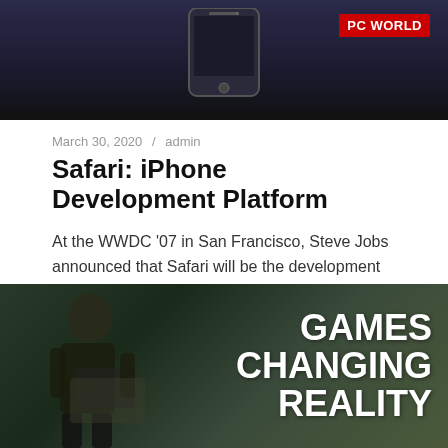[Figure (photo): Dark background image showing top of an iPhone device with PC World logo badge in red at upper right]
March 30, 2020 / admin
Safari: iPhone Development Platform
At the WWDC '07 in San Francisco, Steve Jobs announced that Safari will be the development platform for the iPhone.
Continue reading »
[Figure (photo): Photo of a person looking at a tablet/phone with overlay text reading GAMES CHANGING REALITY in large white bold letters]